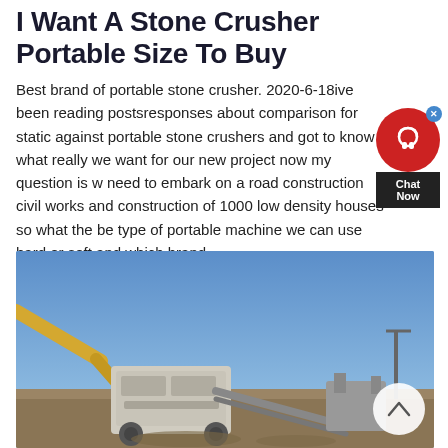I Want A Stone Crusher Portable Size To Buy
Best brand of portable stone crusher. 2020-6-18ive been reading postsresponses about comparison for static against portable stone crushers and got to know what really we want for our new project now my question is w need to embark on a road construction civil works and construction of 1000 low density houses so what the be type of portable machine we can use hard or soft and which brand
[Figure (photo): Photograph of a portable stone crusher machine at a construction site with an excavator arm visible on the left, machinery in the center, and a clear blue sky in the background. Crushed stone and equipment visible in the foreground.]